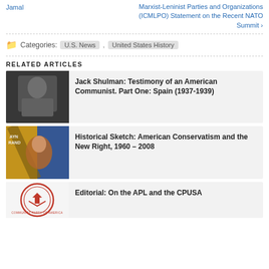Jamal
Marxist-Leninist Parties and Organizations (ICMLPO) Statement on the Recent NATO Summit ›
Categories: U.S. News , United States History
RELATED ARTICLES
[Figure (photo): Black and white portrait photo of a young man in military jacket]
Jack Shulman: Testimony of an American Communist. Part One: Spain (1937-1939)
[Figure (photo): Book cover or poster featuring Ayn Rand with colorful stylized imagery]
Historical Sketch: American Conservatism and the New Right, 1960 – 2008
[Figure (photo): Communist Party of America circular logo/seal in red]
Editorial: On the APL and the CPUSA